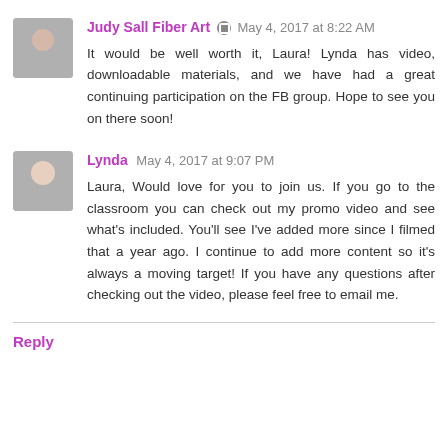Judy Sall Fiber Art · May 4, 2017 at 8:22 AM
It would be well worth it, Laura! Lynda has video, downloadable materials, and we have had a great continuing participation on the FB group. Hope to see you on there soon!
Lynda May 4, 2017 at 9:07 PM
Laura, Would love for you to join us. If you go to the classroom you can check out my promo video and see what's included. You'll see I've added more since I filmed that a year ago. I continue to add more content so it's always a moving target! If you have any questions after checking out the video, please feel free to email me.
Reply